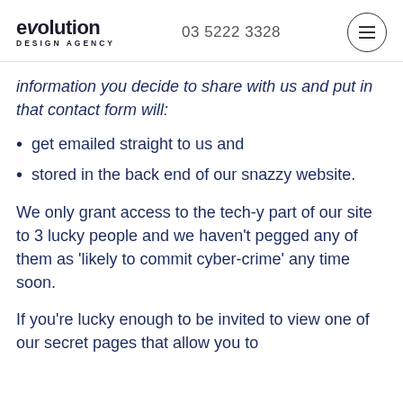evolution DESIGN AGENCY | 03 5222 3328
information you decide to share with us and put in that contact form will:
get emailed straight to us and
stored in the back end of our snazzy website.
We only grant access to the tech-y part of our site to 3 lucky people and we haven't pegged any of them as 'likely to commit cyber-crime' any time soon.
If you're lucky enough to be invited to view one of our secret pages that allow you to